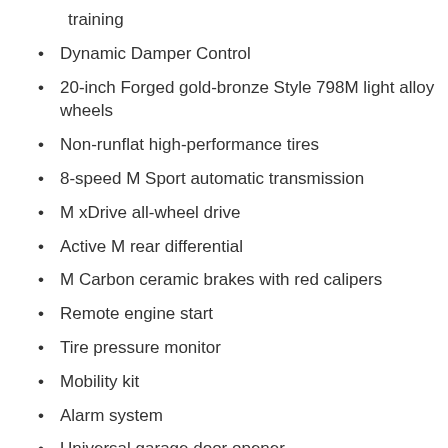training
Dynamic Damper Control
20-inch Forged gold-bronze Style 798M light alloy wheels
Non-runflat high-performance tires
8-speed M Sport automatic transmission
M xDrive all-wheel drive
Active M rear differential
M Carbon ceramic brakes with red calipers
Remote engine start
Tire pressure monitor
Mobility kit
Alarm system
Universal garage door opener